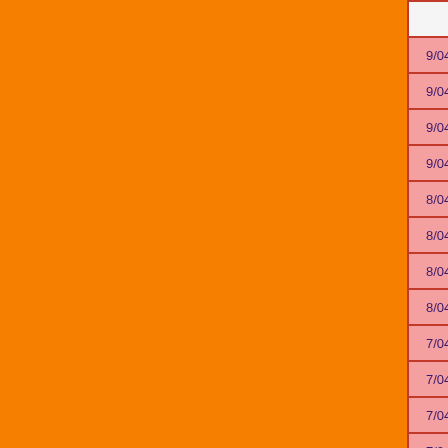| Date | Time | Pressure | Temp1 | Temp2 |  |
| --- | --- | --- | --- | --- | --- |
| 9/04/08 | 2.00 | 1008.5 | 25.3 | 23.0 |  |
| 9/04/08 | 8.00 | 1010.1 | 24.3 | 22.7 |  |
| 9/04/08 | 14.00 | 1009.8 | 26.9 | 23.6 |  |
| 9/04/08 | 20.00 | 1010.8 | 25.6 | 23.4 |  |
| 8/04/08 | 2.00 | 1010.3 | 25.1 | 22.9 |  |
| 8/04/08 | 8.00 | 1010.6 | 25.1 | 22.5 |  |
| 8/04/08 | 14.00 | 1009.8 | 26.9 | 23.0 |  |
| 8/04/08 | 20.00 | 1008.0 | 25.8 | 22.9 |  |
| 7/04/08 | 2.00 | 1013.7 | 21.8 | 19.9 |  |
| 7/04/08 | 8.00 | 1014.5 | 24.2 | 20.7 |  |
| 7/04/08 | 14.00 | 1012.4 | 27.3 | 21.8 |  |
| 7/04/08 | 20.00 | 1010.9 | 24.9 | 22.2 |  |
| 6/04/08 | 2.00 | 1016.9 | 21.6 | 19.7 |  |
| 6/04/08 | 8.00 | 1017.7 | 21.7 | 20.2 |  |